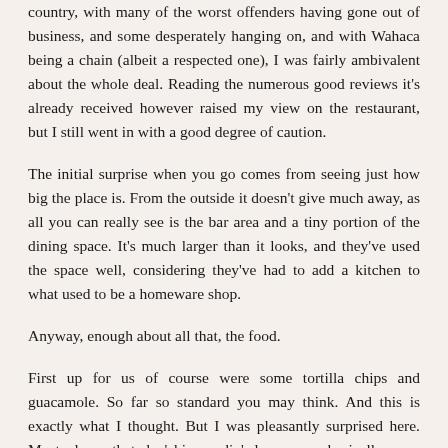country, with many of the worst offenders having gone out of business, and some desperately hanging on, and with Wahaca being a chain (albeit a respected one), I was fairly ambivalent about the whole deal. Reading the numerous good reviews it's already received however raised my view on the restaurant, but I still went in with a good degree of caution.
The initial surprise when you go comes from seeing just how big the place is. From the outside it doesn't give much away, as all you can really see is the bar area and a tiny portion of the dining space. It's much larger than it looks, and they've used the space well, considering they've had to add a kitchen to what used to be a homeware shop.
Anyway, enough about all that, the food.
First up for us of course were some tortilla chips and guacamole. So far so standard you may think. And this is exactly what I thought. But I was pleasantly surprised here. Most places that do 'chips n dip' do so very basically, very 'economically', and are very often obviously shop bought, and of poor quality. Most guacamoles commercially available for instance hardly even have